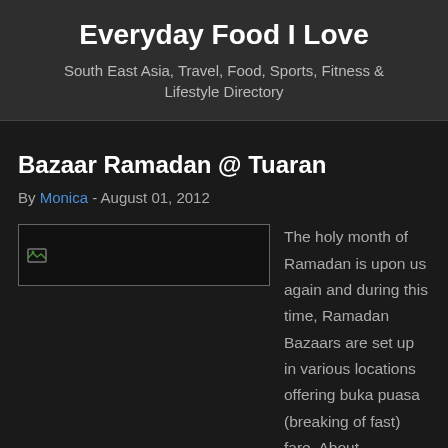Everyday Food I Love
South East Asia, Travel, Food, Sports, Fitness & Lifestyle Directory
Bazaar Ramadan @ Tuaran
By Monica - August 01, 2012
[Figure (photo): Broken/unloaded image placeholder for a Bazaar Ramadan photo]
The holy month of Ramadan is upon us again and during this time, Ramadan Bazaars are set up in various locations offering buka puasa (breaking of fast) fare. About an hour drive from KK, the Ramadan Bazaar in Tuaran is well worth a visit for tourists and a great opportunity to sample